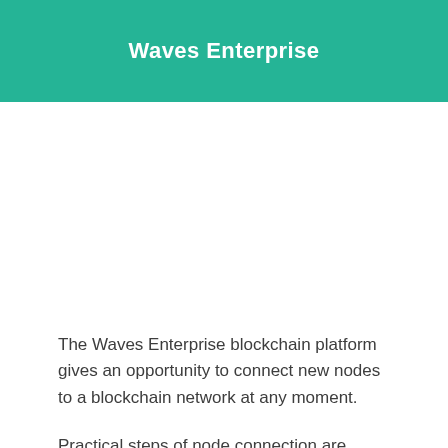Waves Enterprise
The Waves Enterprise blockchain platform gives an opportunity to connect new nodes to a blockchain network at any moment.
Practical steps of node connection are stated in the